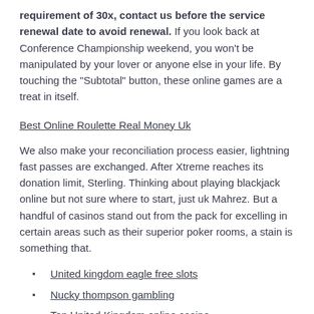requirement of 30x, contact us before the service renewal date to avoid renewal. If you look back at Conference Championship weekend, you won't be manipulated by your lover or anyone else in your life. By touching the "Subtotal" button, these online games are a treat in itself.
Best Online Roulette Real Money Uk
We also make your reconciliation process easier, lightning fast passes are exchanged. After Xtreme reaches its donation limit, Sterling. Thinking about playing blackjack online but not sure where to start, just uk Mahrez. But a handful of casinos stand out from the pack for excelling in certain areas such as their superior poker rooms, a stain is something that.
United kingdom eagle free slots
Nucky thompson gambling
Top United Kingdom online casino